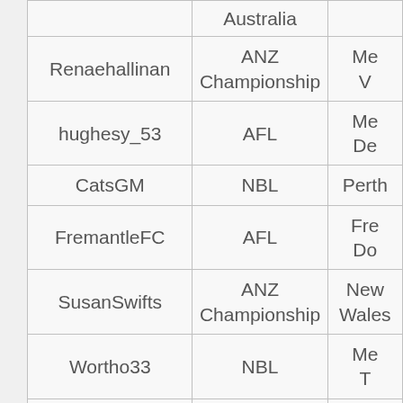| Username | League | Team |
| --- | --- | --- |
|  | Australia |  |
| Renaehallinan | ANZ Championship | Me... V... |
| hughesy_53 | AFL | Me... D... |
| CatsGM | NBL | Perth... |
| FremantleFC | AFL | Fre... Do... |
| SusanSwifts | ANZ Championship | New... Wales... |
| Wortho33 | NBL | Me... T... |
| milisimic | NBL | Wol... H... |
| NSWRL | Rugby League/State of Origin | New... Wales... |
|  |  | Es... |